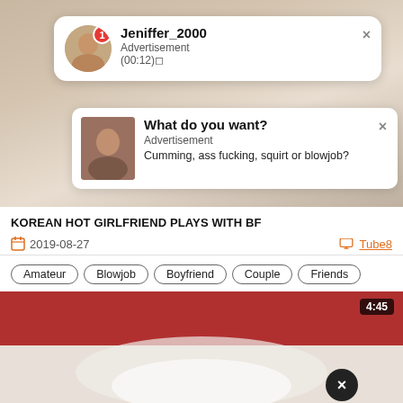[Figure (screenshot): Push notification card: avatar with red badge '1', title 'Jeniffer_2000', subtitle 'Advertisement', text '(00:12)🔲', close button X]
[Figure (screenshot): Push notification card: thumbnail photo, title 'What do you want?', subtitle 'Advertisement', text 'Cumming, ass fucking, squirt or blowjob?', close button X]
KOREAN HOT GIRLFRIEND PLAYS WITH BF
2019-08-27
Tube8
Amateur
Blowjob
Boyfriend
Couple
Friends
[Figure (screenshot): Video thumbnail showing two people, duration badge '4:45' top right, dark close circle button bottom right]